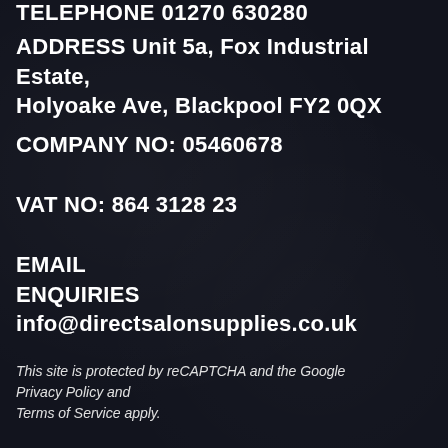TELEPHONE 01270 630280
ADDRESS Unit 5a, Fox Industrial Estate, Holyoake Ave, Blackpool FY2 0QX
COMPANY NO: 05460678
VAT NO: 864 3128 23
EMAIL ENQUIRIES info@directsalonsupplies.co.uk
This site is protected by reCAPTCHA and the Google Privacy Policy and Terms of Service apply.